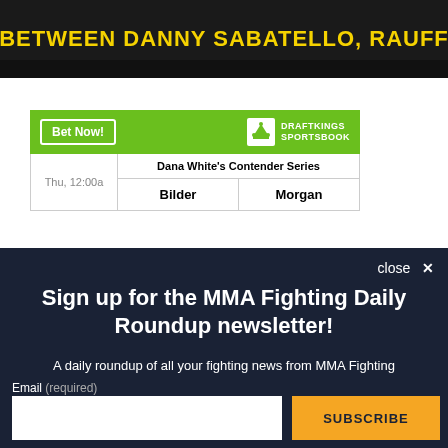[Figure (screenshot): Dark banner image with yellow text reading BETWEEN DANNY SABATELLO, RAUFF...]
|  | Dana White's Contender Series |  |
| --- | --- | --- |
| Thu, 12:00a | Bilder | Morgan |
close X
Sign up for the MMA Fighting Daily Roundup newsletter!
A daily roundup of all your fighting news from MMA Fighting
Email (required)
SUBSCRIBE
By submitting your email, you agree to our Terms and Privacy Notice. You can opt out at any time. This site is protected by reCAPTCHA and the Google Privacy Policy and Terms of Service apply.